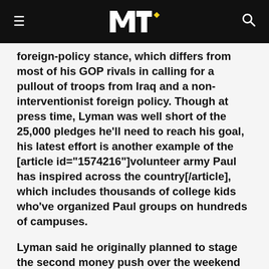MTV
foreign-policy stance, which differs from most of his GOP rivals in calling for a pullout of troops from Iraq and a non-interventionist foreign policy. Though at press time, Lyman was well short of the 25,000 pledges he'll need to reach his goal, his latest effort is another example of the [article id="1574216"]volunteer army Paul has inspired across the country[/article], which includes thousands of college kids who've organized Paul groups on hundreds of campuses.
Lyman said he originally planned to stage the second money push over the weekend of December 15 and 16, to coincide with Bill of Rights Day and the anniversary of the Boston Tea Party, respectively, dates chosen to appeal to the Libertarian streak that has inspired the retired physician's cult-like following. The Web site for that challenge, TeaParty07.com, had already raised